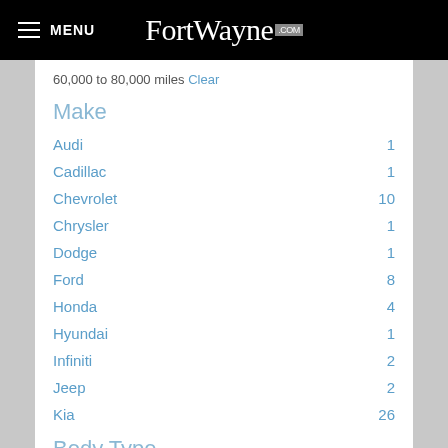MENU | FortWayne.com
60,000 to 80,000 miles Clear
Make
Audi  1
Cadillac  1
Chevrolet  10
Chrysler  1
Dodge  1
Ford  8
Honda  4
Hyundai  1
Infiniti  2
Jeep  2
Kia  26
Body Type
Drivetrain